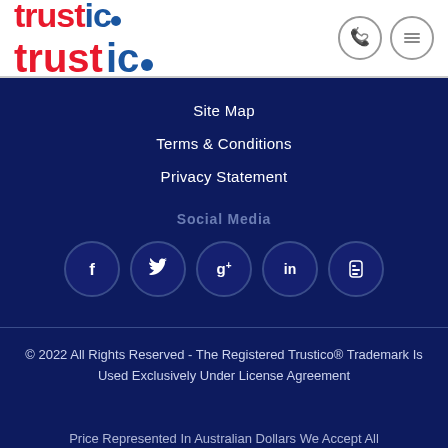[Figure (logo): Trustico logo with red 'trust' and blue 'ico' text and blue circle dot]
[Figure (other): Phone icon circle and hamburger menu icon circle in header]
Site Map
Terms & Conditions
Privacy Statement
Social Media
[Figure (other): Social media icons: Facebook, Twitter, Google+, LinkedIn, Blogger in circular outlines]
© 2022 All Rights Reserved - The Registered Trustico® Trademark Is Used Exclusively Under License Agreement
Price Represented In Australian Dollars We Accept All